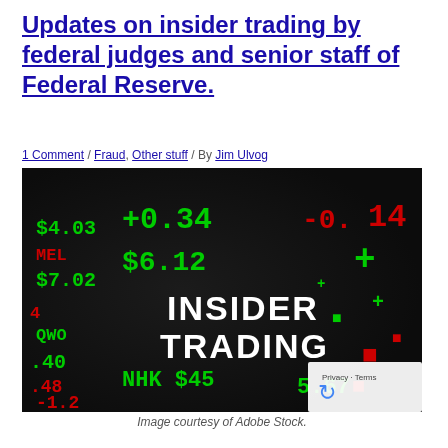Updates on insider trading by federal judges and senior staff of Federal Reserve.
1 Comment / Fraud, Other stuff / By Jim Ulvog
[Figure (photo): Stock ticker board displaying green and red numbers and symbols with 'INSIDER TRADING' text prominently displayed in white pixelated letters in the center]
Image courtesy of Adobe Stock.